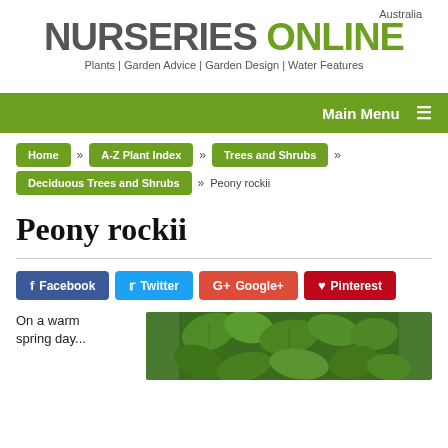[Figure (logo): Nurseries Online Australia logo with tagline: Plants | Garden Advice | Garden Design | Water Features]
Main Menu
Home » A-Z Plant Index » Trees and Shrubs » Deciduous Trees and Shrubs » Peony rockii
Peony rockii
Facebook  Twitter  Google+  Pinterest
On a warm
[Figure (photo): Close-up photo of green plant leaves]